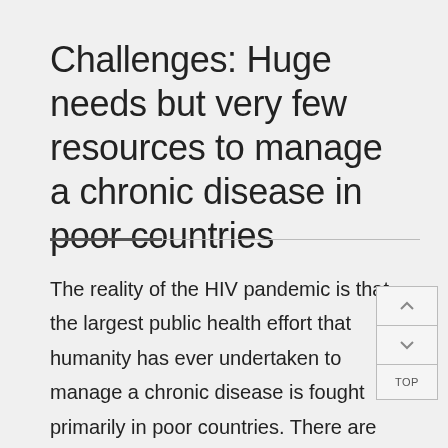Challenges: Huge needs but very few resources to manage a chronic disease in poor countries
The reality of the HIV pandemic is that the largest public health effort that humanity has ever undertaken to manage a chronic disease is fought primarily in poor countries. There are huge needs but very few resources in these countries. They cannot cope with a continuous flow of patients who require life-long follow up and treatment.